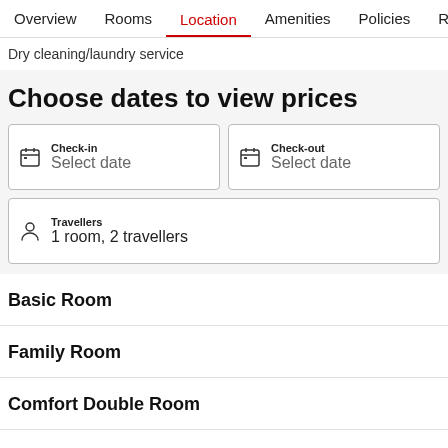Overview  Rooms  Location  Amenities  Policies  Reviews
Dry cleaning/laundry service
Choose dates to view prices
Check-in
Select date
Check-out
Select date
Travellers
1 room, 2 travellers
Basic Room
Family Room
Comfort Double Room
Comfort Triple Room